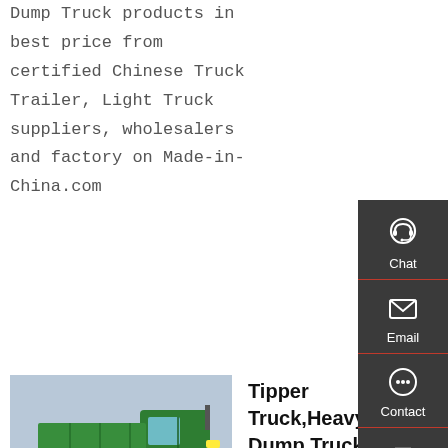Dump Truck products in best price from certified Chinese Truck Trailer, Light Truck suppliers, wholesalers and factory on Made-in-China.com
Get a Quote
[Figure (photo): Green heavy duty dump truck / tipper truck photographed from the side]
Tipper Truck,Heavy Duty Dump Truck,Self Dumping Truck
SHACMAN 290hp 20CBM